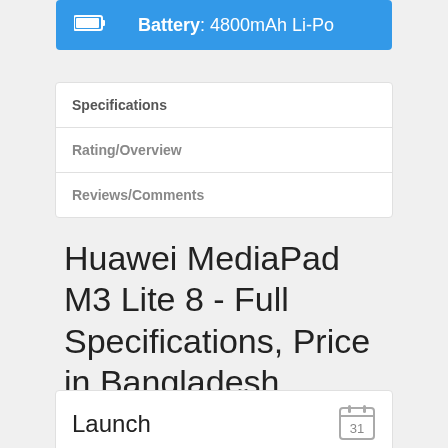Battery: 4800mAh Li-Po
Specifications
Rating/Overview
Reviews/Comments
Huawei MediaPad M3 Lite 8 - Full Specifications, Price in Bangladesh
| Launch |  |
| --- | --- |
| Announced | 2017, June |
| Status | Available. Released 2017, June |